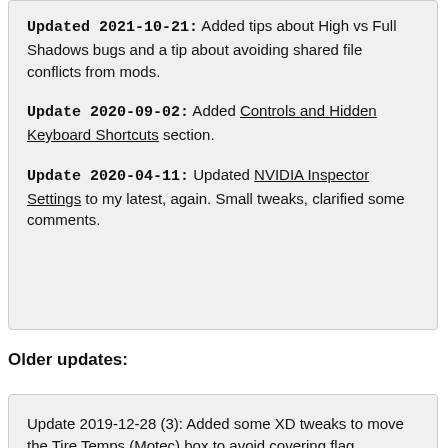Updated 2021-10-21: Added tips about High vs Full Shadows bugs and a tip about avoiding shared file conflicts from mods.
Update 2020-09-02: Added Controls and Hidden Keyboard Shortcuts section.
Update 2020-04-11: Updated NVIDIA Inspector Settings to my latest, again. Small tweaks, clarified some comments.
Older updates:
Update 2019-12-28 (3): Added some XD tweaks to move the Tire Temps (Motec) box to avoid covering flag indicators by default.